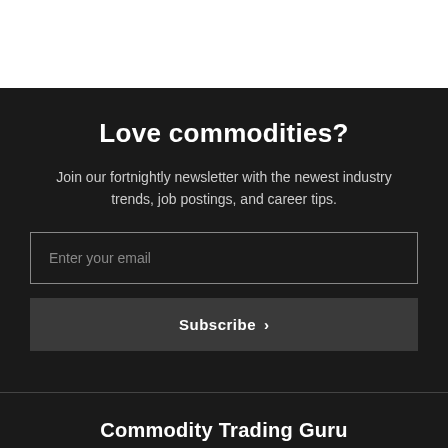Love commodities?
Join our fortnightly newsletter with the newest industry trends, job postings, and career tips.
Enter your email
Subscribe >
Commodity Trading Guru